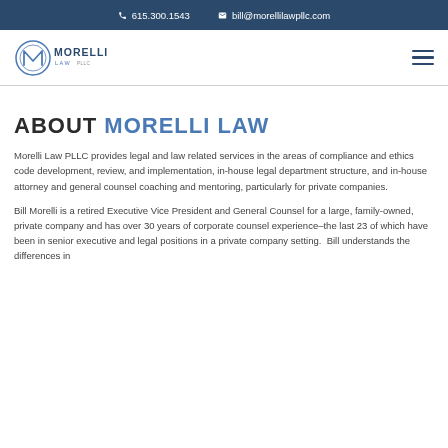615.300.1543   bill@morellilawpllc.com
[Figure (logo): Morelli Law PLLC logo with circular M icon and text MORELLI LAW PLLC]
ABOUT MORELLI LAW
Morelli Law PLLC provides legal and law related services in the areas of compliance and ethics code development, review, and implementation, in-house legal department structure, and in-house attorney and general counsel coaching and mentoring, particularly for private companies.
Bill Morelli is a retired Executive Vice President and General Counsel for a large, family-owned, private company and has over 30 years of corporate counsel experience–the last 23 of which have been in senior executive and legal positions in a private company setting.  Bill understands the differences in